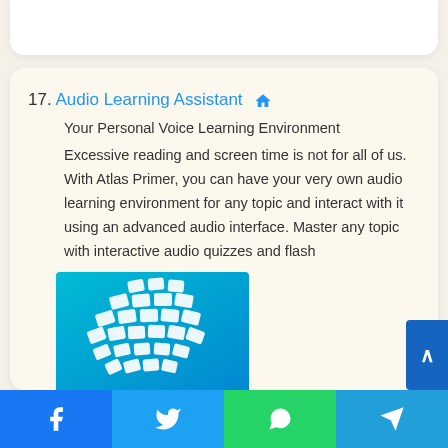17. Audio Learning Assistant
Your Personal Voice Learning Environment
Excessive reading and screen time is not for all of us. With Atlas Primer, you can have your very own audio learning environment for any topic and interact with it using an advanced audio interface. Master any topic with interactive audio quizzes and flash
[Figure (photo): App icon or screenshot with cyan/teal to blue gradient background featuring a white globe/sphere made of diamond/rhombus shapes]